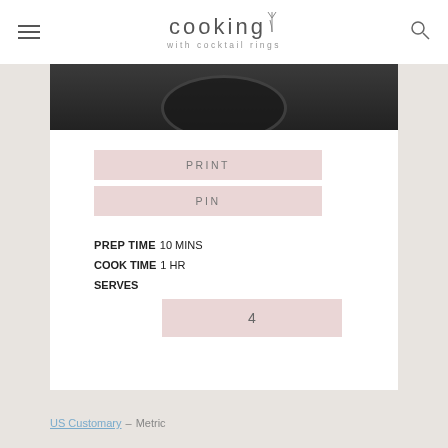cooking with cocktail rings
[Figure (photo): Dark cast iron pan with food, partially visible at top of recipe card area]
PRINT
PIN
PREP TIME 10 MINS
COOK TIME 1 HR
SERVES
4
US Customary – Metric